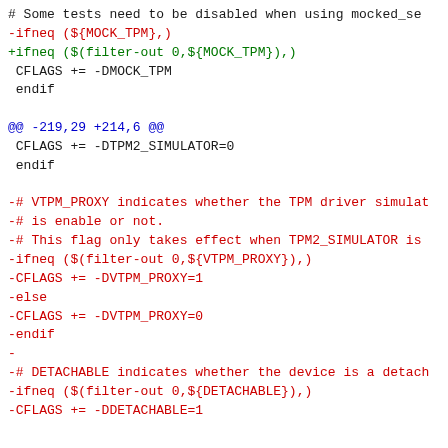# Some tests need to be disabled when using mocked_se
-ifneq (${MOCK_TPM},)
+ifneq ($(filter-out 0,${MOCK_TPM}),)
 CFLAGS += -DMOCK_TPM
 endif

@@ -219,29 +214,6 @@
 CFLAGS += -DTPM2_SIMULATOR=0
 endif

-# VTPM_PROXY indicates whether the TPM driver simulat
-# is enable or not.
-# This flag only takes effect when TPM2_SIMULATOR is
-ifneq ($(filter-out 0,${VTPM_PROXY}),)
-CFLAGS += -DVTPM_PROXY=1
-else
-CFLAGS += -DVTPM_PROXY=0
-endif
-
-# DETACHABLE indicates whether the device is a detach
-ifneq ($(filter-out 0,${DETACHABLE}),)
-CFLAGS += -DDETACHABLE=1